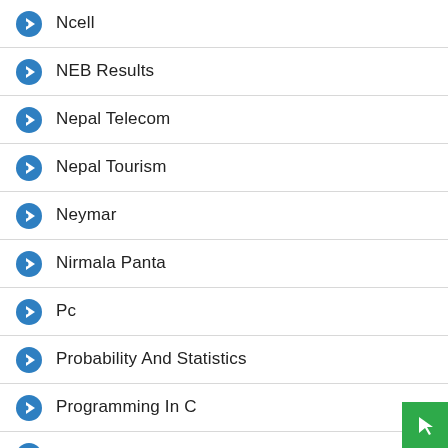Ncell
NEB Results
Nepal Telecom
Nepal Tourism
Neymar
Nirmala Panta
Pc
Probability And Statistics
Programming In C
PSG
PUBG KR MOBILE DOWNLOAD APK OBB File
PUBG Mobile
Real Madrid